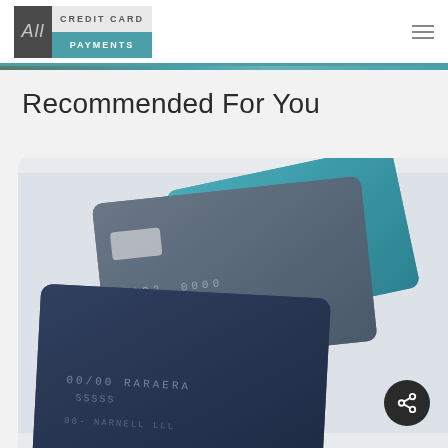All Credit Card Payments
Recommended For You
[Figure (photo): Stack of credit cards photographed from above at an angle, showing embossed numbers and text on blue and teal colored cards against a light background]